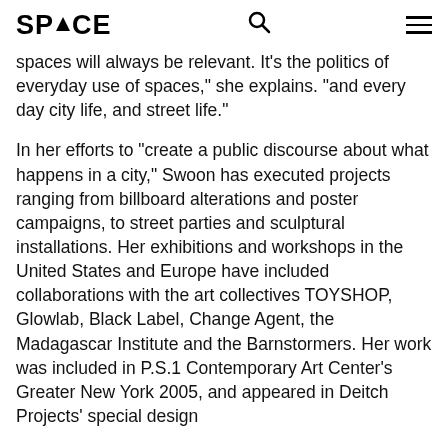SPACE
spaces will always be relevant. It’s the politics of everyday use of spaces,” she explains. “and every day city life, and street life.”
In her efforts to “create a public discourse about what happens in a city,” Swoon has executed projects ranging from billboard alterations and poster campaigns, to street parties and sculptural installations. Her exhibitions and workshops in the United States and Europe have included collaborations with the art collectives TOYSHOP, Glowlab, Black Label, Change Agent, the Madagascar Institute and the Barnstormers. Her work was included in P.S.1 Contemporary Art Center’s Greater New York 2005, and appeared in Deitch Projects’ special design